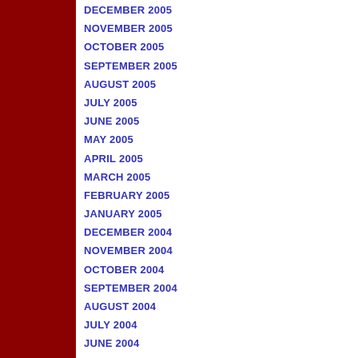DECEMBER 2005
NOVEMBER 2005
OCTOBER 2005
SEPTEMBER 2005
AUGUST 2005
JULY 2005
JUNE 2005
MAY 2005
APRIL 2005
MARCH 2005
FEBRUARY 2005
JANUARY 2005
DECEMBER 2004
NOVEMBER 2004
OCTOBER 2004
SEPTEMBER 2004
AUGUST 2004
JULY 2004
JUNE 2004
MAY 2004
EXTRAS
Subscribe to RSS Feed
XML or RDF
[Figure (logo): Gut Rumbles blog logo — red background with diamond shape and CORROSIVE label]